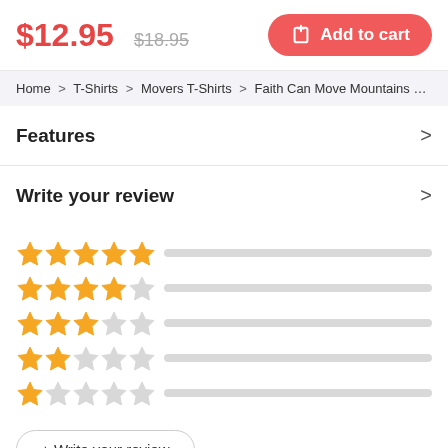$12.95  $18.95  Add to cart
Home > T-Shirts > Movers T-Shirts > Faith Can Move Mountains Matthe
Features
Write your review
[Figure (other): Star rating rows: 5 filled stars, 4 filled stars, 3 filled stars, 2 filled stars, 1 filled star, each followed by a grey progress bar]
+ Write your review